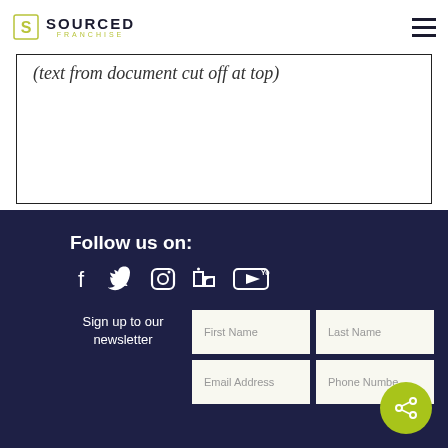SOURCED FRANCHISE
(text from document cut off at top)
Follow us on:
[Figure (other): Social media icons: Facebook, Twitter, Instagram, LinkedIn, YouTube]
Sign up to our newsletter
First Name
Last Name
Email Address
Phone Number